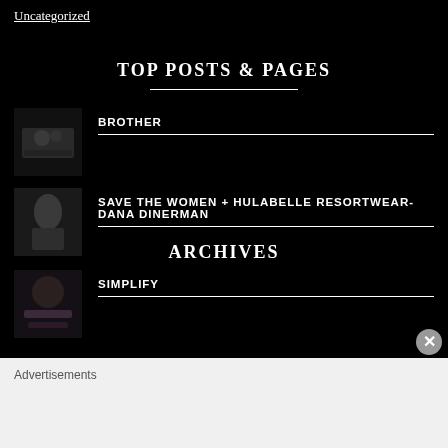Uncategorized
TOP POSTS & PAGES
BROTHER
SAVE THE WOMEN + HULABELLE RESORTWEAR- DANA DINERMAN
SIMPLIFY
ARCHIVES
Advertisements